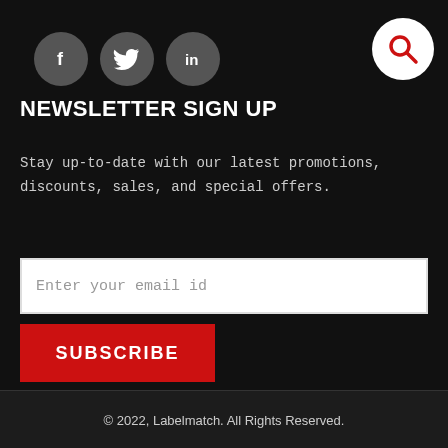[Figure (illustration): Social media icons: Facebook (f), Twitter (bird), LinkedIn (in) as dark grey circles, and a white circle with red search/magnifying glass icon on the right]
NEWSLETTER SIGN UP
Stay up-to-date with our latest promotions, discounts, sales, and special offers.
Enter your email id
SUBSCRIBE
© 2022, Labelmatch. All Rights Reserved.